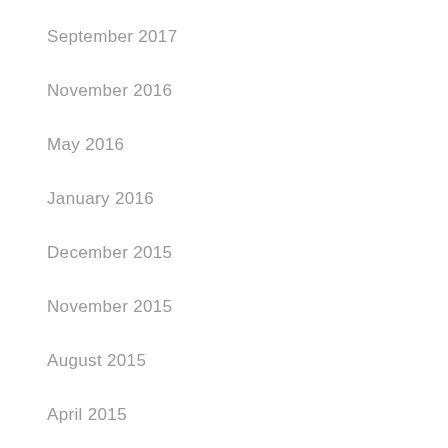September 2017
November 2016
May 2016
January 2016
December 2015
November 2015
August 2015
April 2015
January 2015